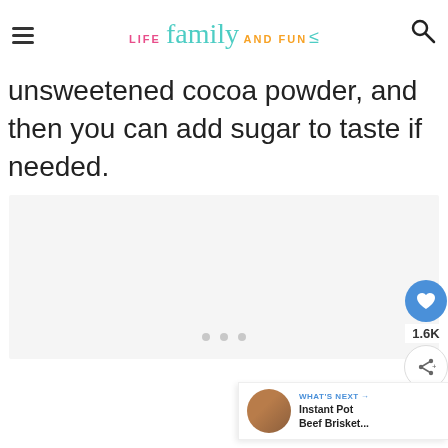LIFE family AND FUN
unsweetened cocoa powder, and then you can add sugar to taste if needed.
[Figure (other): Advertisement placeholder area with loading dots]
1.6K
WHAT'S NEXT → Instant Pot Beef Brisket...